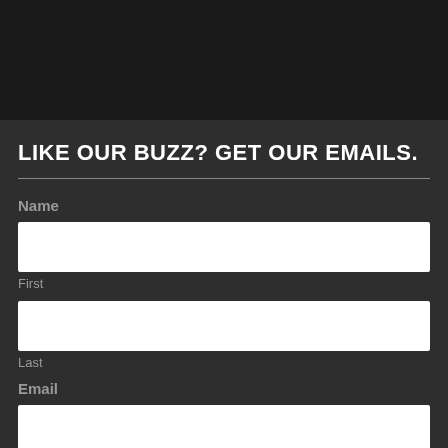[Figure (other): Dark black image/video block at top of page]
LIKE OUR BUZZ? GET OUR EMAILS.
Name
First
Last
Email